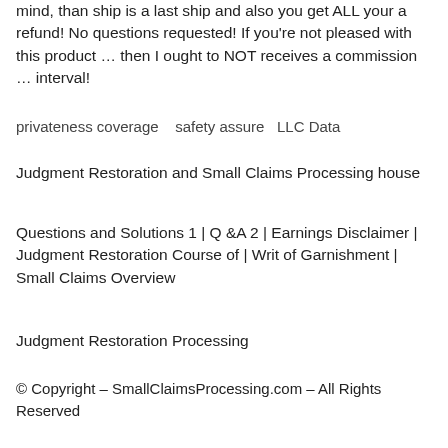mind, than ship is a last ship and also you get ALL your a refund! No questions requested! If you're not pleased with this product … then I ought to NOT receives a commission … interval!
privateness coverage   safety assure  LLC Data
Judgment Restoration and Small Claims Processing house
Questions and Solutions 1 | Q &A 2 | Earnings Disclaimer | Judgment Restoration Course of | Writ of Garnishment | Small Claims Overview
Judgment Restoration Processing
© Copyright – SmallClaimsProcessing.com – All Rights Reserved